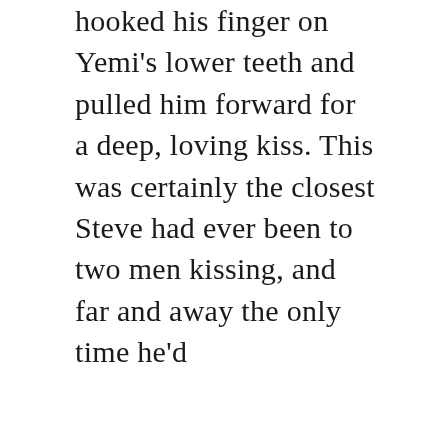hooked his finger on Yemi's lower teeth and pulled him forward for a deep, loving kiss. This was certainly the closest Steve had ever been to two men kissing, and far and away the only time he'd